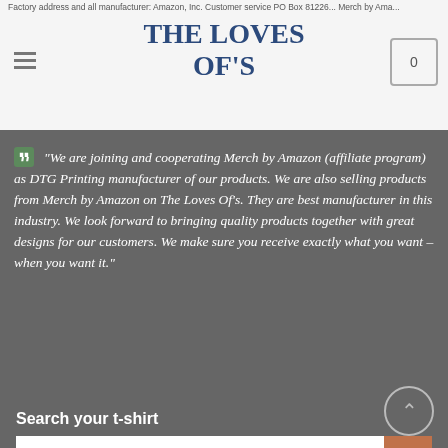Factory address and all manufacturer: Amazon, Inc. Customer Service PO Box 81226... Merch by Amazon
THE LOVES OF'S
"We are joining and cooperating Merch by Amazon (affiliate program) as DTG Printing manufacturer of our products. We are also selling products from Merch by Amazon on The Loves Of's. They are best manufacturer in this industry. We look forward to bringing quality products together with great designs for our customers. We make sure you receive exactly what you want – when you want it."
Search your t-shirt
Search...
[Figure (other): Social media icons: Pinterest, Facebook, YouTube, Twitter, Instagram]